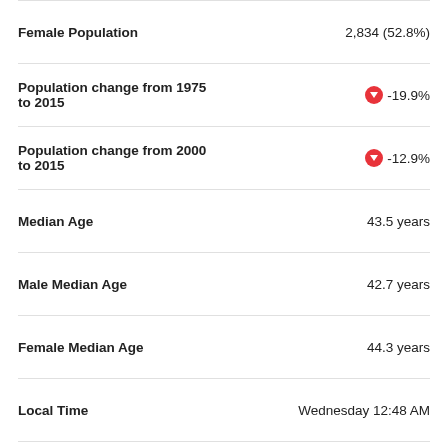Female Population — 2,834 (52.8%)
Population change from 1975 to 2015: -19.9%
Population change from 2000 to 2015: -12.9%
Median Age: 43.5 years
Male Median Age: 42.7 years
Female Median Age: 44.3 years
Local Time: Wednesday 12:48 AM
Timezone: Central European Summer Time
Coordinates: 43.92627872999202° / 12.437931412980884°